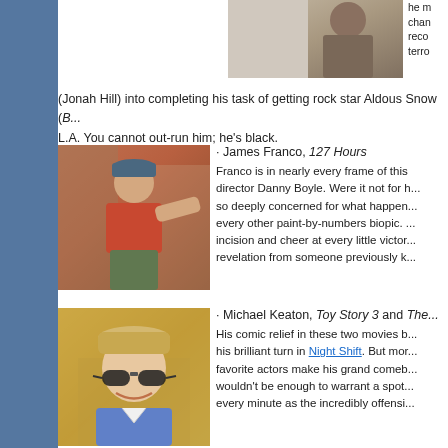[Figure (photo): Photo of a person in a car or vehicle scene, partially visible at top]
he m... chan... reco... terro...
(Jonah Hill) into completing his task of getting rock star Aldous Snow (... L.A. You cannot out-run him; he's black.
[Figure (photo): James Franco climbing a rock face in a red shirt and blue cap, from 127 Hours]
· James Franco, 127 Hours
Franco is in nearly every frame of this... director Danny Boyle. Were it not for h... so deeply concerned for what happen... every other paint-by-numbers biopic. ... incision and cheer at every little victor... revelation from someone previously k...
[Figure (photo): Michael Keaton smiling, wearing a tan cap and large glasses]
· Michael Keaton, Toy Story 3 and The...
His comic relief in these two movies b... his brilliant turn in Night Shift. But mor... favorite actors make his grand comeb... wouldn't be enough to warrant a spot... every minute as the incredibly offensi...